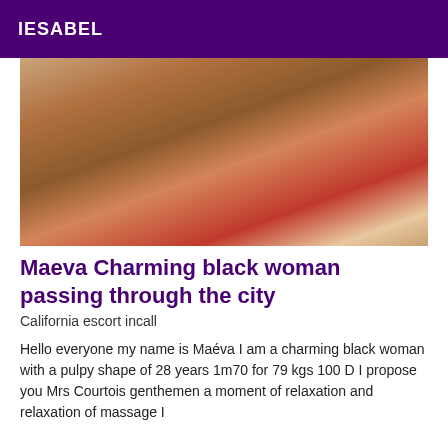IESABEL
[Figure (photo): A photo of a woman in black lingerie lying on a bed with white and red sheets, viewed from behind.]
Maeva Charming black woman passing through the city
California escort incall
Hello everyone my name is Maéva I am a charming black woman with a pulpy shape of 28 years 1m70 for 79 kgs 100 D I propose you Mrs Courtois genthemen a moment of relaxation and relaxation of massage I